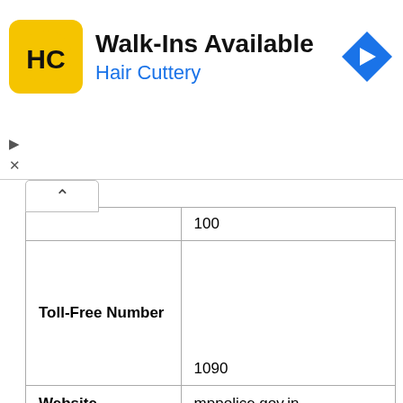[Figure (other): Hair Cuttery advertisement banner with yellow HC logo, 'Walk-Ins Available' heading, 'Hair Cuttery' subtitle in blue, and a blue navigation arrow icon. Dismiss controls (play and X) on the left side.]
|  | 100 |
| Toll-Free Number | 1090 |
| Website | mppolice.gov.in |
Madhya Pradesh
DGP Office
|  |  |  |  |